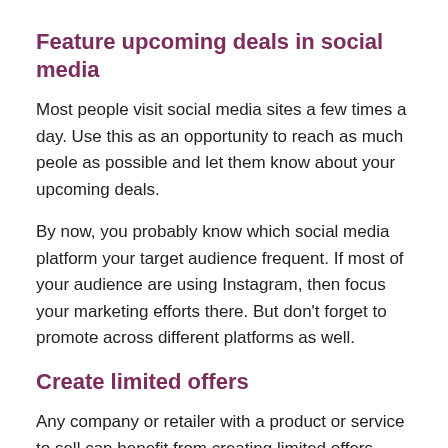Feature upcoming deals in social media
Most people visit social media sites a few times a day. Use this as an opportunity to reach as much peole as possible and let them know about your upcoming deals.
By now, you probably know which social media platform your target audience frequent. If most of your audience are using Instagram, then focus your marketing efforts there. But don't forget to promote across different platforms as well.
Create limited offers
Any company or retailer with a product or service to sell can benefit from creating limited offers. Adding urgency to your offer will help generate interest and